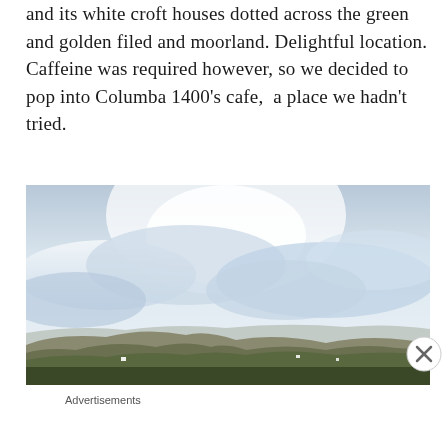and its white croft houses dotted across the green and golden filed and moorland. Delightful location. Caffeine was required however, so we decided to pop into Columba 1400's cafe,  a place we hadn't tried.
[Figure (photo): Landscape photograph of a Scottish highland scene with rugged hills, green and brown moorland in the foreground, and a dramatic cloudy sky with bright light behind the clouds.]
Advertisements